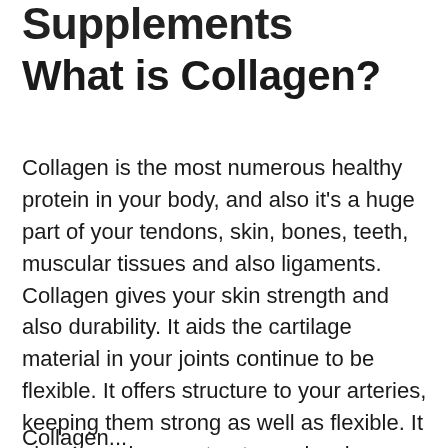Supplements
What is Collagen?
Collagen is the most numerous healthy protein in your body, and also it’s a huge part of your tendons, skin, bones, teeth, muscular tissues and also ligaments. Collagen gives your skin strength and also durability. It aids the cartilage material in your joints continue to be flexible. It offers structure to your arteries, keeping them strong as well as flexible. It gives your bones structure, also, by acting as ‘enhancing rods’. Collagen is an impressive construction material.
Collagen...